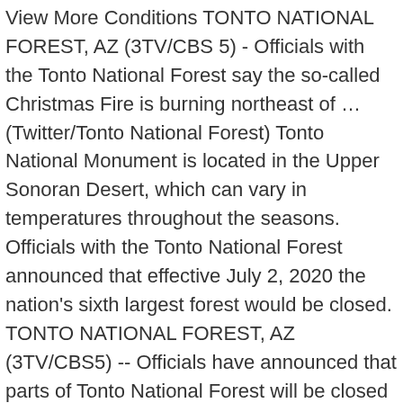View More Conditions TONTO NATIONAL FOREST, AZ (3TV/CBS 5) - Officials with the Tonto National Forest say the so-called Christmas Fire is burning northeast of … (Twitter/Tonto National Forest) Tonto National Monument is located in the Upper Sonoran Desert, which can vary in temperatures throughout the seasons. Officials with the Tonto National Forest announced that effective July 2, 2020 the nation's sixth largest forest would be closed. TONTO NATIONAL FOREST, AZ (3TV/CBS5) -- Officials have announced that parts of Tonto National Forest will be closed just before the 4th … MARICOPA COUNTY, Ariz. — A man was arrested after allegedly shooting at individuals near Needle Rock Beach in the Tonto National Forest, the Maricopa County Sheriff's Office said. Tonto National Monument is